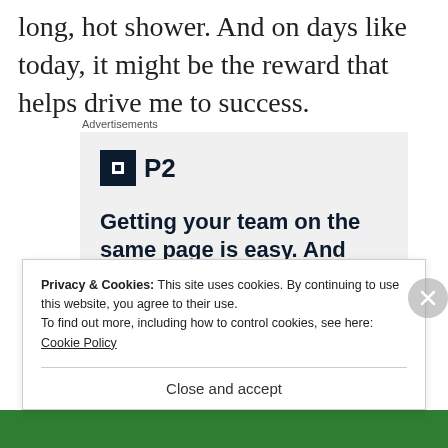long, hot shower. And on days like today, it might be the reward that helps drive me to success.
[Figure (infographic): Advertisement box with P2 logo (dark square icon with white inner square, followed by bold 'P2' text) and headline text 'Getting your team on the same page is easy. And free.' on a light gray background, labeled 'Advertisements' above.]
Privacy & Cookies: This site uses cookies. By continuing to use this website, you agree to their use.
To find out more, including how to control cookies, see here: Cookie Policy
Close and accept